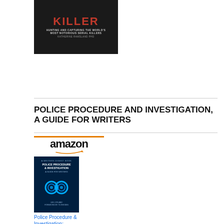[Figure (photo): Book cover for a serial killer hunting and capturing book by Katherine Ramsland PhD, dark background with red text]
POLICE PROCEDURE AND INVESTIGATION, A GUIDE FOR WRITERS
[Figure (photo): Amazon product listing showing 'Police Procedure & Investigation' book cover with handcuffs image, priced at $22.99 with Prime badge]